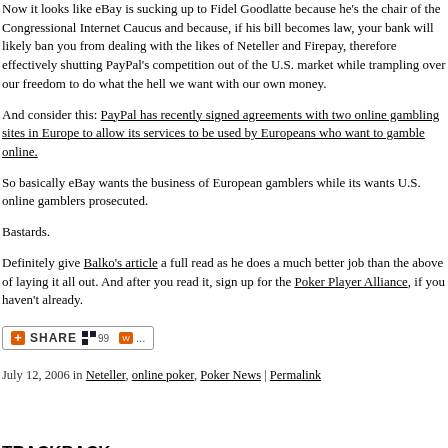Now it looks like eBay is sucking up to Fidel Goodlatte because he's the chair of the Congressional Internet Caucus and because, if his bill becomes law, your bank will likely ban you from dealing with the likes of Neteller and Firepay, therefore effectively shutting PayPal's competition out of the U.S. market while trampling over our freedom to do what the hell we want with our own money.
And consider this: PayPal has recently signed agreements with two online gambling sites in Europe to allow its services to be used by Europeans who want to gamble online.
So basically eBay wants the business of European gamblers while its wants U.S. online gamblers prosecuted.
Bastards.
Definitely give Balko's article a full read as he does a much better job than the above of laying it all out. And after you read it, sign up for the Poker Player Alliance, if you haven't already.
[Figure (other): Share button widget with orange plus icon, SHARE label, and small social sharing icons]
July 12, 2006 in Neteller, online poker, Poker News | Permalink
TRACKBACK
TrackBack URL for this entry:
https://www.typepad.com/services/trackback/6a00d834515b0669e200d834d4d19769e2
Listed below are links to weblogs that reference eBay Wants You Arrested For Playing Online Pok…
COMMENTS